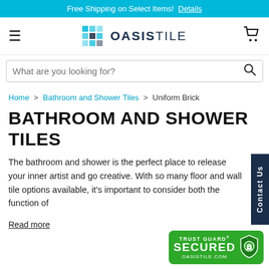Free Shipping on Select Items! Details
[Figure (logo): Oasis Tile logo with teal geometric tile icon and OASISTILE text]
What are you looking for?
Home > Bathroom and Shower Tiles > Uniform Brick
BATHROOM AND SHOWER TILES
The bathroom and shower is the perfect place to release your inner artist and go creative. With so many floor and wall tile options available, it's important to consider both the function of
Read more
[Figure (logo): Trust Guard Secured badge with green background and padlock icon, OASISTILE.COM]